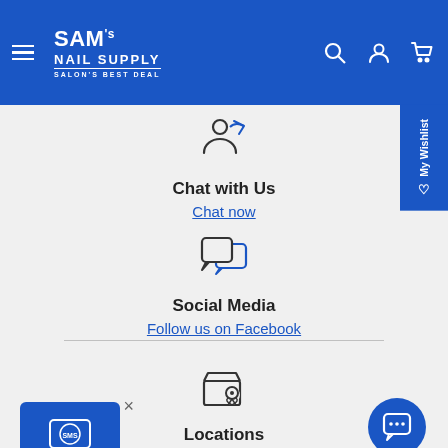[Figure (screenshot): SAM's NAIL SUPPLY website header with blue background, hamburger menu, logo, search icon, account icon, and cart icon]
[Figure (illustration): Person/chat icon outline]
Chat with Us
Chat now
[Figure (illustration): Two speech bubble chat icons]
Social Media
Follow us on Facebook
[Figure (illustration): Store location pin icon]
Locations
Find a location near you
[Figure (illustration): SMS chat popup button with speech bubble and SMS text in blue box with X close button]
[Figure (illustration): Blue circular chat FAB button with speech bubble icon]